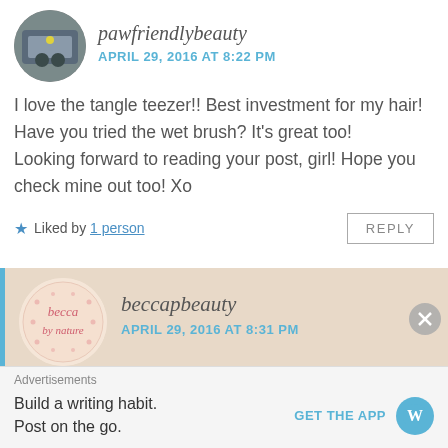[Figure (photo): Circular avatar photo of a car/street scene]
pawfriendlybeauty
APRIL 29, 2016 AT 8:22 PM
I love the tangle teezer!! Best investment for my hair! Have you tried the wet brush? It's great too!
Looking forward to reading your post, girl! Hope you check mine out too! Xo
★ Liked by 1 person
REPLY
[Figure (logo): Circular becca beauty logo with pink text]
beccapbeauty
APRIL 29, 2016 AT 8:31 PM
No but I have heard a lot about it! Everytime I've
Advertisements
Build a writing habit.
Post on the go.
GET THE APP